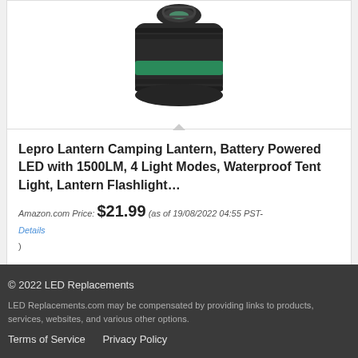[Figure (photo): Product photo of a Lepro camping lantern — black cylindrical body with green band, shown from above]
Lepro Lantern Camping Lantern, Battery Powered LED with 1500LM, 4 Light Modes, Waterproof Tent Light, Lantern Flashlight…
Amazon.com Price: $21.99 (as of 19/08/2022 04:55 PST- Details )
© 2022 LED Replacements
LED Replacements.com may be compensated by providing links to products, services, websites, and various other options.
Terms of Service   Privacy Policy